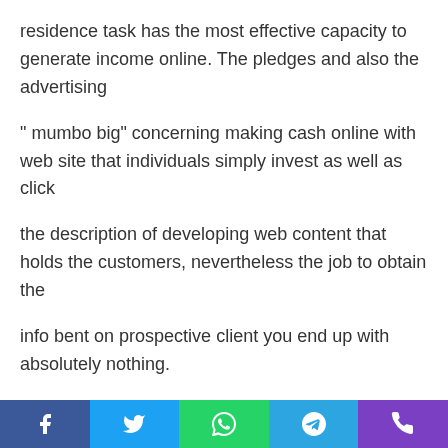residence task has the most effective capacity to generate income online. The pledges and also the advertising
" mumbo big" concerning making cash online with web site that individuals simply invest as well as click
the description of developing web content that holds the customers, nevertheless the job to obtain the
info bent on prospective client you end up with absolutely nothing.
A few of those websites are simply simple waste as well as a lot of them are associate web links to minority
hundred advertising masters that have actually the